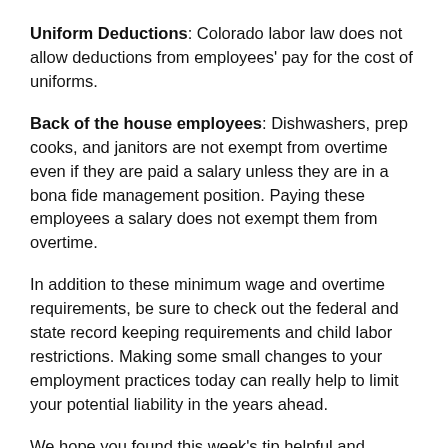Uniform Deductions: Colorado labor law does not allow deductions from employees' pay for the cost of uniforms.
Back of the house employees: Dishwashers, prep cooks, and janitors are not exempt from overtime even if they are paid a salary unless they are in a bona fide management position. Paying these employees a salary does not exempt them from overtime.
In addition to these minimum wage and overtime requirements, be sure to check out the federal and state record keeping requirements and child labor restrictions. Making some small changes to your employment practices today can really help to limit your potential liability in the years ahead.
We hope you found this week's tip helpful and